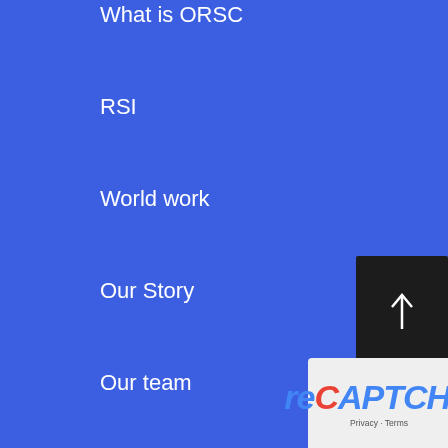What is ORSC
RSI
World work
Our Story
Our team
Contact us
Equity, Diversity, and Inclusion
Resources
Podcast
Blog
[Figure (screenshot): Overlay widget with up arrow scroll button and reCAPTCHA badge in the bottom-right corner]